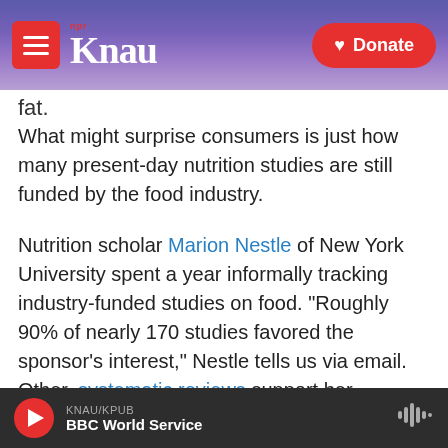KNAU NPR | Donate
fat.
What might surprise consumers is just how many present-day nutrition studies are still funded by the food industry.
Nutrition scholar Marion Nestle of New York University spent a year informally tracking industry-funded studies on food. "Roughly 90% of nearly 170 studies favored the sponsor's interest," Nestle tells us via email. Other, systematic reviews support her conclusions.
For instance, studies funded by Welch Foods — the
KNAU/KPUB | BBC World Service